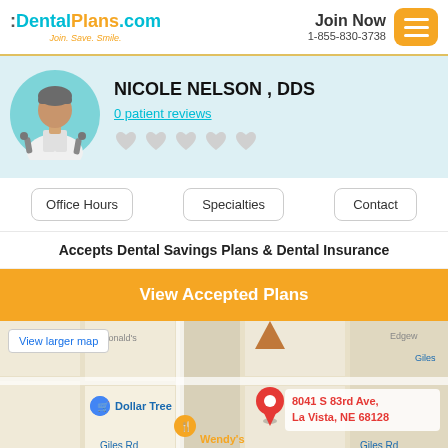:DentalPlans.com Join. Save. Smile. | Join Now 1-855-830-3738
NICOLE NELSON , DDS
0 patient reviews
Office Hours | Specialties | Contact
Accepts Dental Savings Plans & Dental Insurance
View Accepted Plans
[Figure (map): Google map showing location at 8041 S 83rd Ave, La Vista, NE 68128 with nearby landmarks Dollar Tree and Wendy's]
View larger map
8041 S 83rd Ave, La Vista, NE 68128